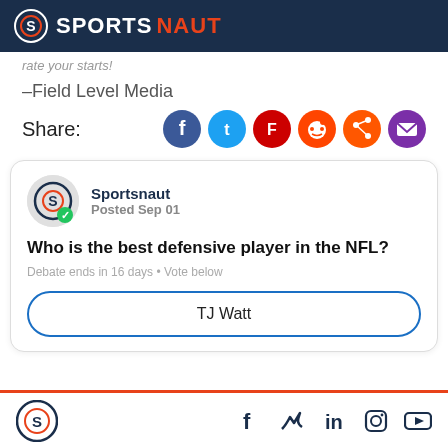SPORTSNAUT
rate your starts!
–Field Level Media
Share:
[Figure (other): Social share buttons: Facebook, Twitter, Flipboard, Reddit, another social icon, Email]
[Figure (other): Sportsnaut poll card: Who is the best defensive player in the NFL? Posted Sep 01. Debate ends in 16 days. Vote below. Option: TJ Watt]
Sportsnaut logo with social icons: Facebook, Twitter, LinkedIn, Instagram, YouTube